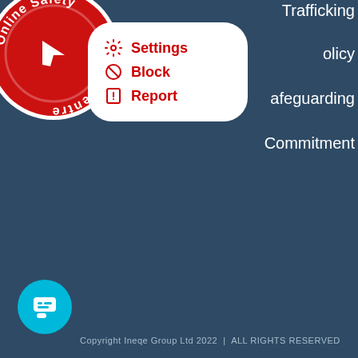[Figure (logo): Online Safety Centre circular red logo with white cursor arrow icon and text 'Online Safety Centre' arranged in a circle]
[Figure (screenshot): White popup panel with red icons and bold red text: Settings, Block, Report]
Trafficking
olicy
afeguarding
Commitment
[Figure (illustration): Cyan/teal circular chat button with white speech bubble icon]
Copyright Ineqe Group Ltd 2022  |  ALL RIGHTS RESERVED